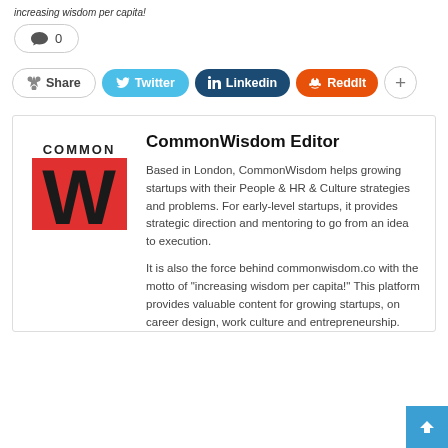increasing wisdom per capita!
0
Share   Twitter   Linkedin   ReddIt   +
CommonWisdom Editor
Based in London, CommonWisdom helps growing startups with their People & HR & Culture strategies and problems. For early-level startups, it provides strategic direction and mentoring to go from an idea to execution.
It is also the force behind commonwisdom.co with the motto of "increasing wisdom per capita!" This platform provides valuable content for growing startups, on career design, work culture and entrepreneurship.